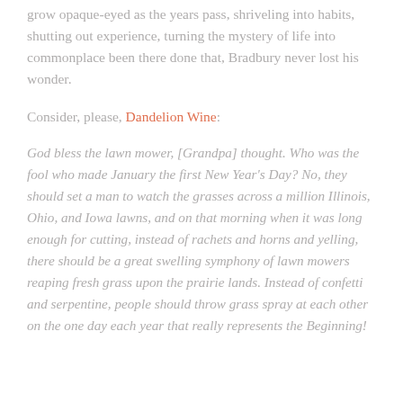grow opaque-eyed as the years pass, shriveling into habits, shutting out experience, turning the mystery of life into commonplace been there done that, Bradbury never lost his wonder.
Consider, please, Dandelion Wine:
God bless the lawn mower, [Grandpa] thought. Who was the fool who made January the first New Year's Day? No, they should set a man to watch the grasses across a million Illinois, Ohio, and Iowa lawns, and on that morning when it was long enough for cutting, instead of rachets and horns and yelling, there should be a great swelling symphony of lawn mowers reaping fresh grass upon the prairie lands. Instead of confetti and serpentine, people should throw grass spray at each other on the one day each year that really represents the Beginning!